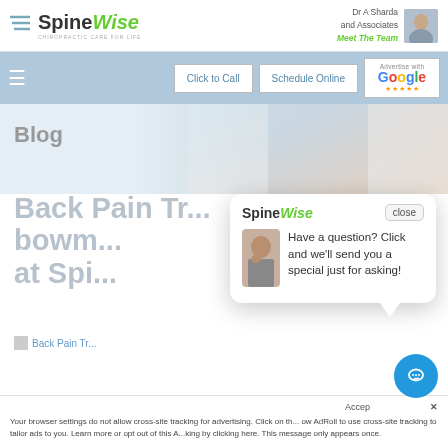SpineWise — Dr A Sharda and Associates — Meet The Team
[Figure (screenshot): SpineWise website navigation bar with Click to Call, Schedule Online buttons and Google reviews badge]
[Figure (photo): Hero image showing person's back/midsection area]
Blog
Back Pain Treatment bowm... at Spi...
[Figure (screenshot): SpineWise popup chat widget with logo, close button, avatar of customer service agent, and message: Have a question? Click and we'll send you a special just for asking!]
Back Pain Tr...
Your browser settings do not allow cross-site tracking for advertising. Click on th... ow AdRoll to use cross-site tracking to tailor ads to you. Learn more or opt out of this A...king by clicking here. This message only appears once.